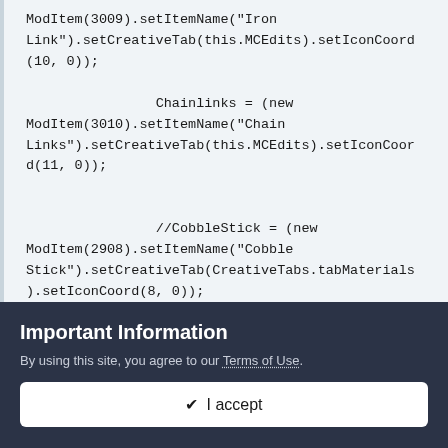ModItem(3009).setItemName("Iron Link").setCreativeTab(this.MCEdits).setIconCoord(10, 0));

                Chainlinks = (new ModItem(3010).setItemName("Chain Links").setCreativeTab(this.MCEdits).setIconCoord(11, 0));


                //CobbleStick = (new ModItem(2908).setItemName("Cobble Stick").setCreativeTab(CreativeTabs.tabMaterials).setIconCoord(8, 0));

                //Blocks


                BirchFenceGate = (new
Important Information
By using this site, you agree to our Terms of Use.
✔ I accept